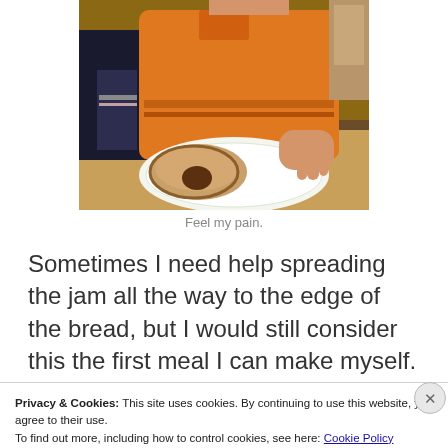[Figure (photo): A child in an orange shirt leaning over a plate with a sandwich/bread at a table.]
Feel my pain.
Sometimes I need help spreading the jam all the way to the edge of the bread, but I would still consider this the first meal I can make myself. And that's not half bad, no
Privacy & Cookies: This site uses cookies. By continuing to use this website, you agree to their use.
To find out more, including how to control cookies, see here: Cookie Policy
Close and accept